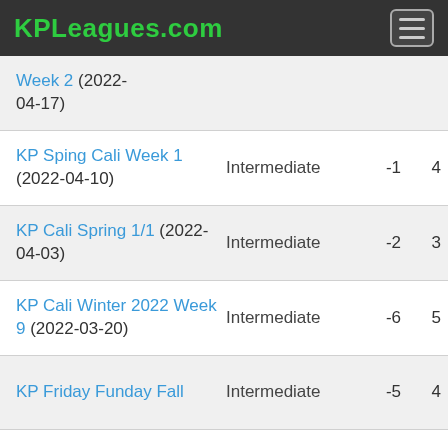KPLeagues.com
| Tournament | Level | Score | Pts |
| --- | --- | --- | --- |
| Week 2 (2022-04-17) |  |  |  |
| KP Sping Cali Week 1 (2022-04-10) | Intermediate | -1 | 4 |
| KP Cali Spring 1/1 (2022-04-03) | Intermediate | -2 | 3 |
| KP Cali Winter 2022 Week 9 (2022-03-20) | Intermediate | -6 | 5 |
| KP Friday Funday Fall | Intermediate | -5 | 4 |